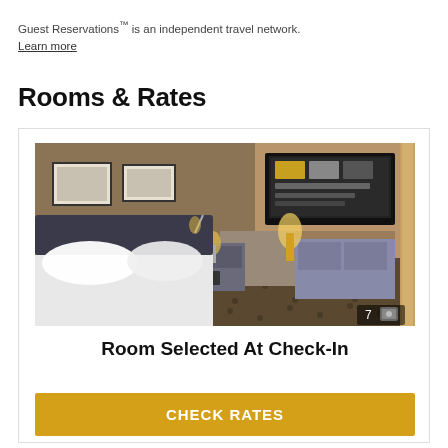Guest Reservations™ is an independent travel network.
Learn more
Rooms & Rates
[Figure (photo): Hotel room photo showing a bed with white pillows, a nightstand, desk area with a lamp, and a flat-screen TV mounted on the wall. A badge in the bottom-right corner shows '7' with a photo icon.]
Room Selected At Check-In
CHECK RATES